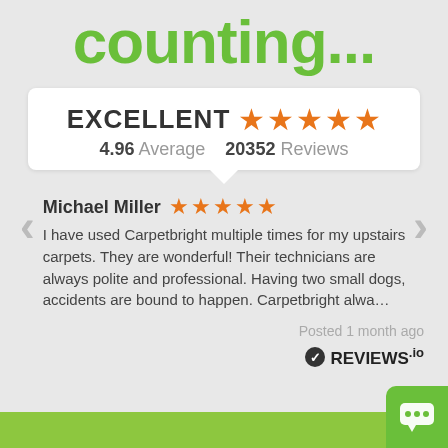counting...
[Figure (infographic): Review widget showing EXCELLENT rating with 5 orange stars, 4.96 average, 20352 reviews, and a testimonial from Michael Miller with 5 stars]
Michael Miller
I have used Carpetbright multiple times for my upstairs carpets. They are wonderful! Their technicians are always polite and professional. Having two small dogs, accidents are bound to happen. Carpetbright alwa...
Posted 1 month ago
REVIEWS.io